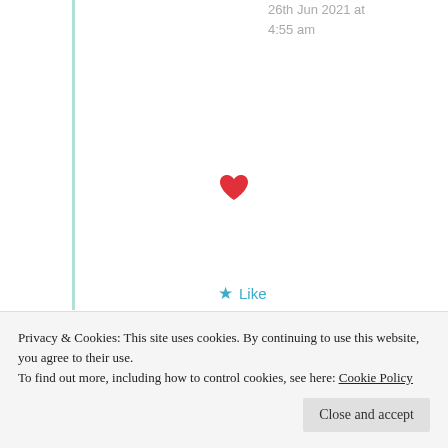26th Jun 2021 at 4:55 am
[Figure (illustration): Red heart emoji/icon]
★ Like
Advertisements
[Figure (photo): WordPress Hosting advertisement banner with woman holding OPEN sign and Pressable logo]
Privacy & Cookies: This site uses cookies. By continuing to use this website, you agree to their use.
To find out more, including how to control cookies, see here: Cookie Policy
Close and accept